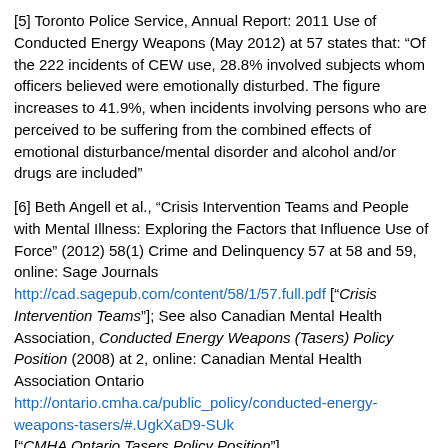[5] Toronto Police Service, Annual Report: 2011 Use of Conducted Energy Weapons (May 2012) at 57 states that: “Of the 222 incidents of CEW use, 28.8% involved subjects whom officers believed were emotionally disturbed. The figure increases to 41.9%, when incidents involving persons who are perceived to be suffering from the combined effects of emotional disturbance/mental disorder and alcohol and/or drugs are included”
[6] Beth Angell et al., “Crisis Intervention Teams and People with Mental Illness: Exploring the Factors that Influence Use of Force” (2012) 58(1) Crime and Delinquency 57 at 58 and 59, online: Sage Journals http://cad.sagepub.com/content/58/1/57.full.pdf [“Crisis Intervention Teams”]; See also Canadian Mental Health Association, Conducted Energy Weapons (Tasers) Policy Position (2008) at 2, online: Canadian Mental Health Association Ontario http://ontario.cmha.ca/public_policy/conducted-energy-weapons-tasers/#.UgkXaD9-SUk [“CMHA Ontario Tasers Policy Position”]
[7] Office of the Police Complaints Commissioner, British Columbia, “Taser Technology Review and Interim Recommendations,” (September 2004), online: http://fundar.org.mx/mocipol/images/taser%20technology%20review.pd
[8] Temitope Oriola, Nicole Neverson & Charles T. Adeyanju, “‘They